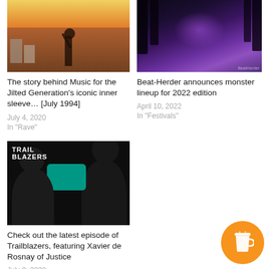[Figure (photo): Concert/festival artistic photo with warm orange and blue tones, person silhouette against colorful backdrop]
The story behind Music for the Jilted Generation's iconic inner sleeve… [July 1994]
July 4, 2020
In "Rave"
[Figure (photo): Festival night photo with purple/violet lighting through forest trees, Beat-Herder watermark]
Beat-Herder announces monster lineup for 2022 edition
April 10, 2022
In "Festivals"
[Figure (photo): Trailblazers podcast artwork showing two people in dark monochrome with teal accent shape and TRAIL BLAZERS text overlay]
Check out the latest episode of Trailblazers, featuring Xavier de Rosnay of Justice
July 9, 2020
In "Podcast"